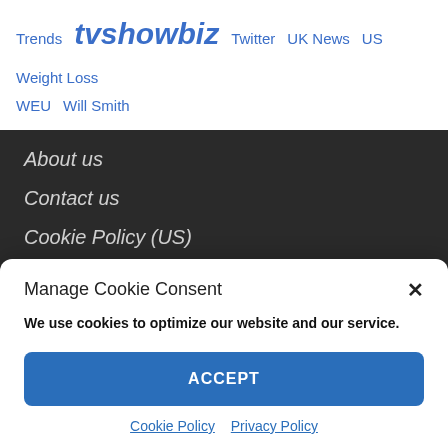Trends  tvshowbiz  Twitter  UK News  US  Weight Loss
WEU  Will Smith
About us
Contact us
Cookie Policy (US)
DMCA
Privacy Policy
Manage Cookie Consent
We use cookies to optimize our website and our service.
ACCEPT
Cookie Policy  Privacy Policy